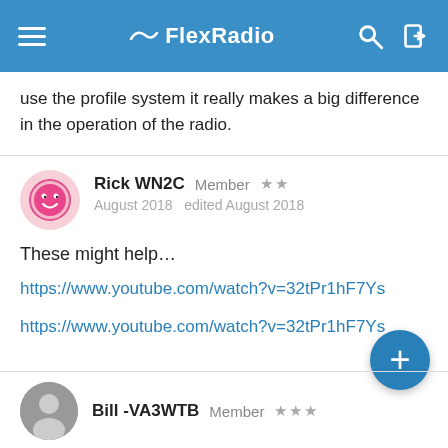FlexRadio
use the profile system it really makes a big difference in the operation of the radio.
Rick WN2C  Member  ★★
August 2018  edited August 2018
These might help...
https://www.youtube.com/watch?v=32tPr1hF7Ys
https://www.youtube.com/watch?v=32tPr1hF7Ys
Bill -VA3WTB  Member  ★★★